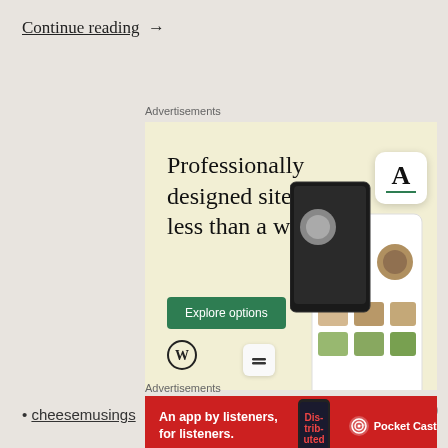Continue reading  →
Advertisements
[Figure (illustration): WordPress advertisement banner with cream/yellow background. Large serif headline: 'Professionally designed sites in less than a week'. Green 'Explore options' button. WordPress logo bottom left. Decorative squarespace icon. Right side shows simulated device screenshots of a food/restaurant website with food photos.]
cheesemusings
Advertisements
[Figure (illustration): Pocket Casts advertisement banner with red background. White bold text: 'An app by listeners, for listeners.' Center image shows stylized 'Distributed' text on device. Pocket Casts logo on right.]